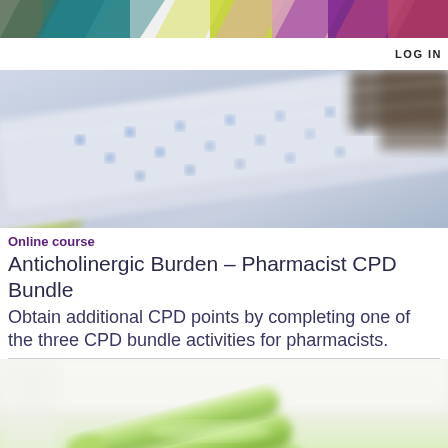LOG IN
[Figure (photo): Close-up blurred photo of medication/tablet packaging with blue dot pattern]
Online course
Anticholinergic Burden – Pharmacist CPD Bundle
Obtain additional CPD points by completing one of the three CPD bundle activities for pharmacists.
[Figure (photo): Close-up blurred photo of green measuring spoons/scoops with medication tablets and purple label]